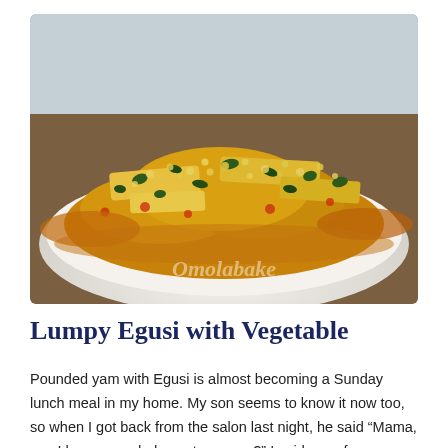[Figure (photo): A white plate piled high with lumpy egusi soup with visible pieces of fish and dark green vegetables, garnished with ground egusi seeds. A watermark reading 'Omolabake' is visible at the bottom center of the image.]
Lumpy Egusi with Vegetable
Pounded yam with Egusi is almost becoming a Sunday lunch meal in my home. My son seems to know it now too, so when I got back from the salon last night, he said “Mama, can I have pounded yam tomorrow?” I said yes of course. Inspite of him having his mandatory Jollof Rice -which... Continue reading...